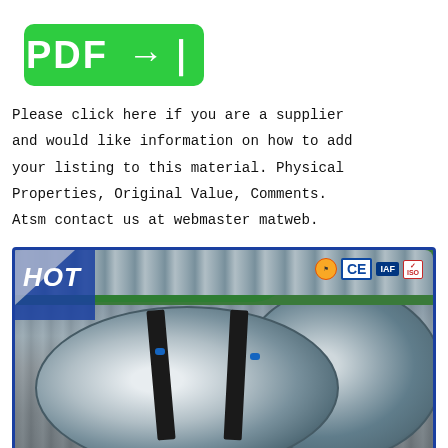[Figure (logo): Green PDF button with right arrow icon]
Please click here if you are a supplier and would like information on how to add your listing to this material. Physical Properties, Original Value, Comments. Atsm contact us at webmaster matweb.
[Figure (photo): Photo of galvanized steel coils in a warehouse/shipping setting with HOT badge and CE/IAF certification logos in top corners, green and blue banner, corrugated metal background]